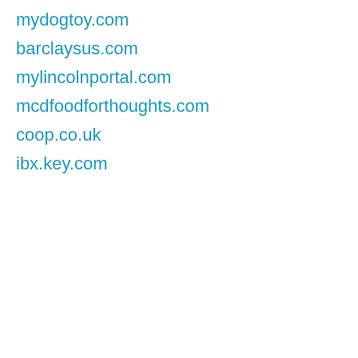mydogtoy.com
barclaysus.com
mylincolnportal.com
mcdfoodforthoughts.com
coop.co.uk
ibx.key.com
Copyright © 2010-2022 – IPAddress.com Network UG – IPAddress.com – The Best IP Address Tools At Your Fingertips
Featured Sites | Latest Websites | Keyword Analyses | Sitemap | Privacy Policy | Legal Notice | Terms of Service | AL Location Database Download | IP Location API